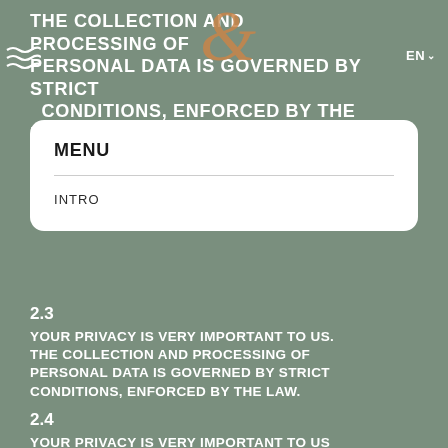THE COLLECTION AND PROCESSING OF PERSONAL DATA IS GOVERNED BY STRICT CONDITIONS, ENFORCED BY THE LAW.
EN
MENU
INTRO
2.3
YOUR PRIVACY IS VERY IMPORTANT TO US. THE COLLECTION AND PROCESSING OF PERSONAL DATA IS GOVERNED BY STRICT CONDITIONS, ENFORCED BY THE LAW.
2.4
YOUR PRIVACY IS VERY IMPORTANT TO US